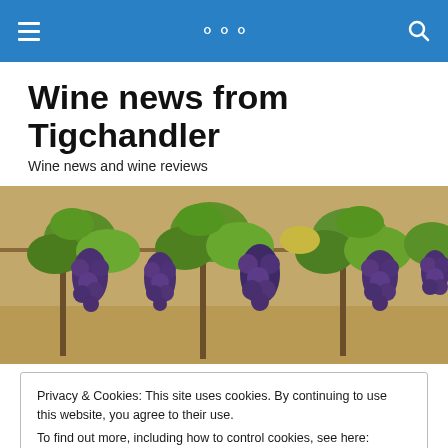Wine news from Tigchandler — navigation bar
Wine news from Tigchandler
Wine news and wine reviews
[Figure (photo): Wide banner photograph of purple/blue wine grape clusters hanging on a vine with green leaves in a vineyard, warm sunny background]
Privacy & Cookies: This site uses cookies. By continuing to use this website, you agree to their use.
To find out more, including how to control cookies, see here: Cookie Policy
Close and accept
Australia's 2011 vintage will be one to cause